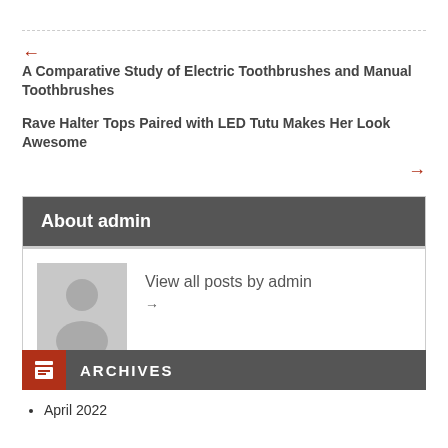← (back arrow)
A Comparative Study of Electric Toothbrushes and Manual Toothbrushes
Rave Halter Tops Paired with LED Tutu Makes Her Look Awesome
→ (forward arrow)
About admin
View all posts by admin →
ARCHIVES
April 2022